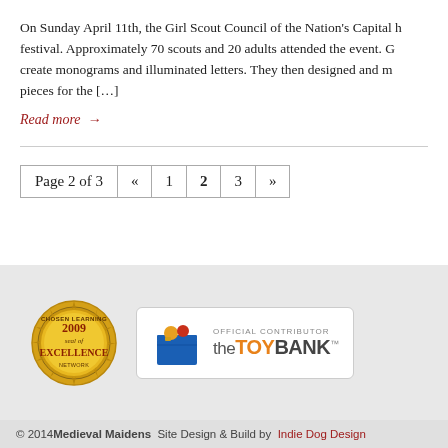On Sunday April 11th, the Girl Scout Council of the Nation's Capital h festival. Approximately 70 scouts and 20 adults attended the event. G create monograms and illuminated letters. They then designed and m pieces for the […]
Read more →
Page 2 of 3  «  1  2  3  »
[Figure (logo): Gold circular seal badge reading '2009 Seal of Excellence' with decorative border]
[Figure (logo): The Toy Bank official contributor badge showing a blue toy box with toys and text 'OFFICIAL CONTRIBUTOR theTOYBANK']
© 2014 Medieval Maidens Site Design & Build by Indie Dog Design